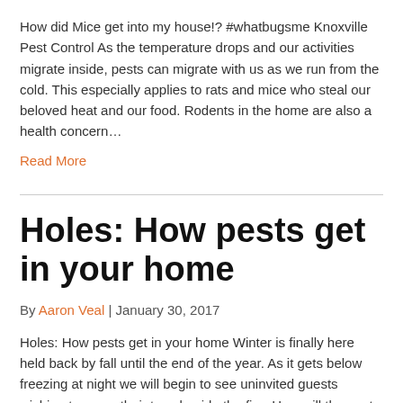How did Mice get into my house!? #whatbugsme Knoxville Pest Control As the temperature drops and our activities migrate inside, pests can migrate with us as we run from the cold. This especially applies to rats and mice who steal our beloved heat and our food. Rodents in the home are also a health concern…
Read More
Holes: How pests get in your home
By Aaron Veal  |  January 30, 2017
Holes: How pests get in your home Winter is finally here held back by fall until the end of the year. As it gets below freezing at night we will begin to see uninvited guests wishing to warm their toes beside the fire. How will they get inside you ask?  Let's look at some of…